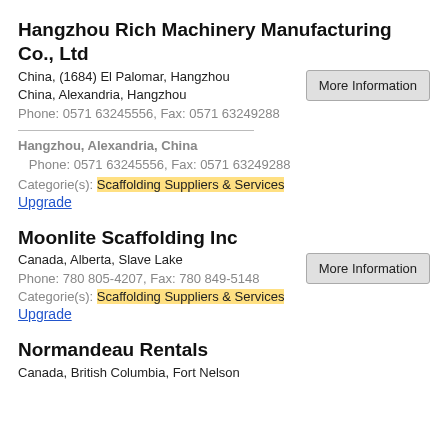Hangzhou Rich Machinery Manufacturing Co., Ltd
China, (1684) El Palomar, Hangzhou
China, Alexandria, Hangzhou
Phone: 0571 63245556, Fax: 0571 63249288
Hangzhou, Alexandria, China
Phone: 0571 63245556, Fax: 0571 63249288
Categorie(s): Scaffolding Suppliers & Services
Upgrade
Moonlite Scaffolding Inc
Canada, Alberta, Slave Lake
Phone: 780 805-4207, Fax: 780 849-5148
Categorie(s): Scaffolding Suppliers & Services
Upgrade
Normandeau Rentals
Canada, British Columbia, Fort Nelson